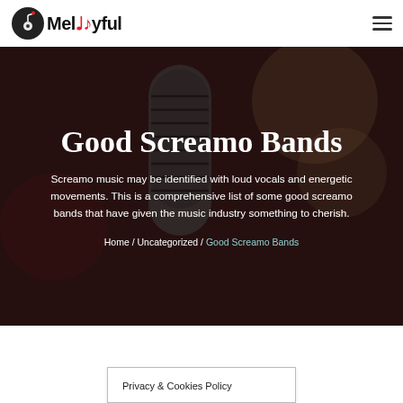Melodyful
Good Screamo Bands
Screamo music may be identified with loud vocals and energetic movements. This is a comprehensive list of some good screamo bands that have given the music industry something to cherish.
Home / Uncategorized / Good Screamo Bands
Privacy & Cookies Policy